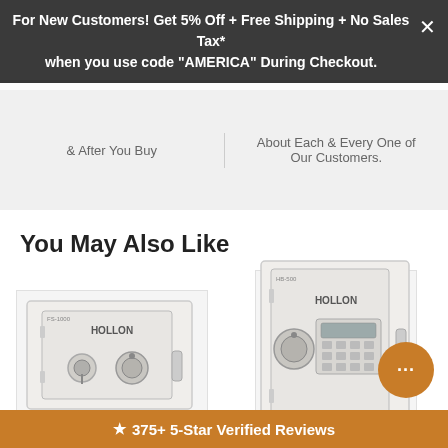For New Customers! Get 5% Off + Free Shipping + No Sales Tax* when you use code "AMERICA" During Checkout.
& After You Buy
About Each & Every One of Our Customers.
You May Also Like
[Figure (photo): White Hollon safe with dual key/combination lock mechanism on the front door]
[Figure (photo): White Hollon tall safe with electronic digital keypad and dial combination lock]
Save 17%
★ 375+ 5-Star Verified Reviews